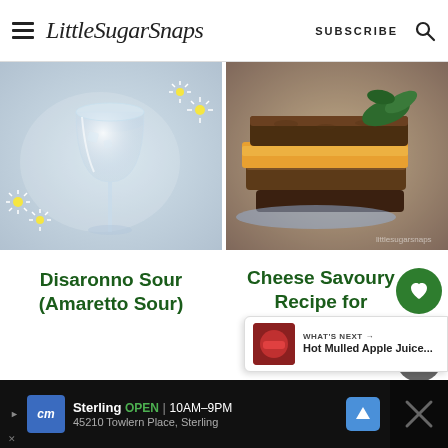LittleSugarSnaps | SUBSCRIBE
[Figure (photo): Wine glass with white daisies on a light blue/grey background]
[Figure (photo): Cheese savoury sandwiches on brown bread, stacked, on a blue and white plate with greenery]
Disaronno Sour (Amaretto Sour)
Cheese Savoury Recipe for Afternoon Tea Sandwiches
227
WHAT'S NEXT → Hot Mulled Apple Juice...
[Figure (advertisement): CM logo ad for Sterling store: OPEN 10AM-9PM, 45210 Towlern Place, Sterling]